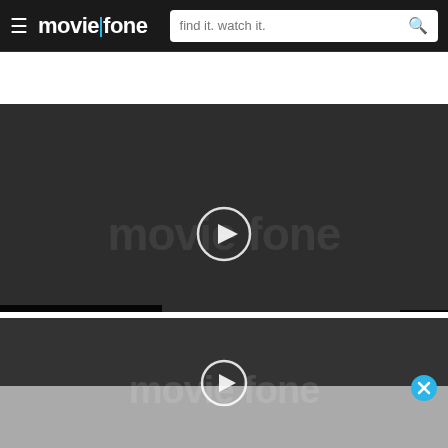moviefone — find it. watch it.
[Figure (screenshot): Main video player area showing Moviefone watermark logo and a circular play button in the center]
'The Visitor' Trailer
1:47
[Figure (screenshot): Secondary video player area (advertisement) showing Moviefone watermark logo, a circular play button, and a close (X) button in the top right]